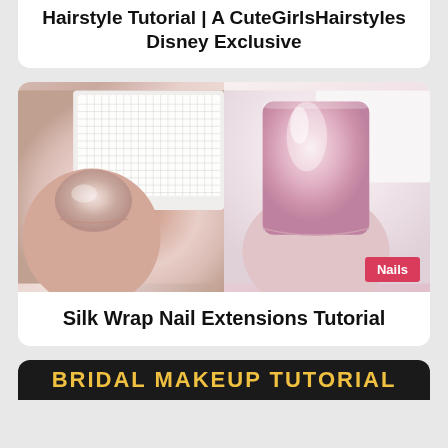Hairstyle Tutorial | A CuteGirlsHairstyles Disney Exclusive
[Figure (photo): Side-by-side photo comparison: left side shows a finger with a short bare nail and a white silk/mesh fabric wrap being applied; right side shows a finger with a long, square, glossy pink nail extension. A red badge labeled 'Nails' appears in the bottom-right corner.]
Silk Wrap Nail Extensions Tutorial
BRIDAL MAKEUP TUTORIAL